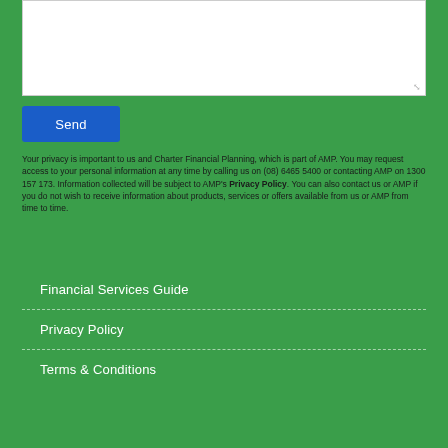[Figure (other): White text input textarea box with resize handle in bottom-right corner]
Send
Your privacy is important to us and Charter Financial Planning, which is part of AMP. You may request access to your personal information at any time by calling us on (08) 6465 5400 or contacting AMP on 1300 157 173. Information collected will be subject to AMP's Privacy Policy. You can also contact us or AMP if you do not wish to receive information about products, services or offers available from us or AMP from time to time.
Financial Services Guide
Privacy Policy
Terms & Conditions